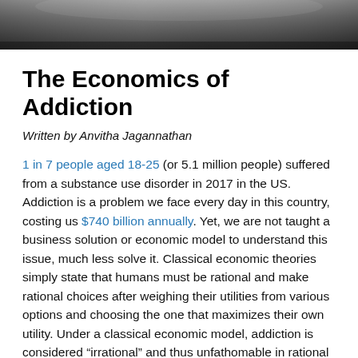[Figure (photo): Black and white photograph, appears to show a dark landscape or abstract image, cropped at top of page.]
The Economics of Addiction
Written by Anvitha Jagannathan
1 in 7 people aged 18-25 (or 5.1 million people) suffered from a substance use disorder in 2017 in the US. Addiction is a problem we face every day in this country, costing us $740 billion annually. Yet, we are not taught a business solution or economic model to understand this issue, much less solve it. Classical economic theories simply state that humans must be rational and make rational choices after weighing their utilities from various options and choosing the one that maximizes their own utility. Under a classical economic model, addiction is considered “irrational” and thus unfathomable in rational